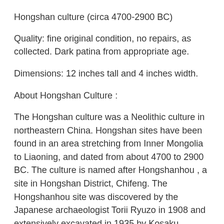Hongshan culture (circa 4700-2900 BC)
Quality: fine original condition, no repairs, as collected. Dark patina from appropriate age.
Dimensions: 12 inches tall and 4 inches width.
About Hongshan Culture :
The Hongshan culture was a Neolithic culture in northeastern China. Hongshan sites have been found in an area stretching from Inner Mongolia to Liaoning, and dated from about 4700 to 2900 BC. The culture is named after Hongshanhou , a site in Hongshan District, Chifeng. The Hongshanhou site was discovered by the Japanese archaeologist Torii Ryuzo in 1908 and extensively excavated in 1935 by Kosaku Hamada and Mizuno Seiichi.